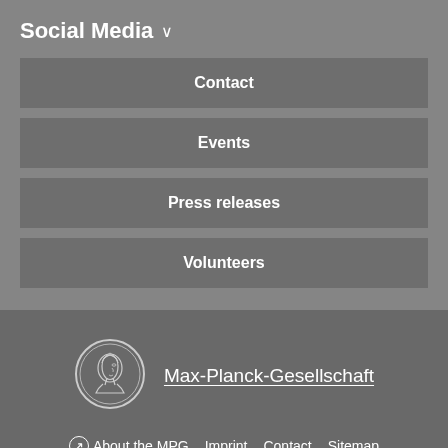Social Media ∨
Contact
Events
Press releases
Volunteers
[Figure (logo): Max-Planck-Gesellschaft circular coin logo with a profile portrait in white outline on dark background]
Max-Planck-Gesellschaft
↗ About the MPG   Imprint   Contact   Sitemap
Self-Service   Privacy Policy
© 2022, Max-Planck-Gesellschaft